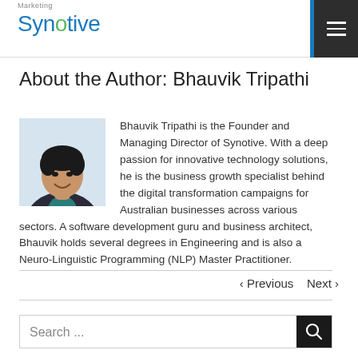Marketing | Synotive
About the Author: Bhauvik Tripathi
[Figure (photo): Headshot photo of Bhauvik Tripathi, a man in a dark suit jacket with a teal shirt, smiling, against a light background]
Bhauvik Tripathi is the Founder and Managing Director of Synotive. With a deep passion for innovative technology solutions, he is the business growth specialist behind the digital transformation campaigns for Australian businesses across various sectors. A software development guru and business architect, Bhauvik holds several degrees in Engineering and is also a Neuro-Linguistic Programming (NLP) Master Practitioner.
‹ Previous   Next ›